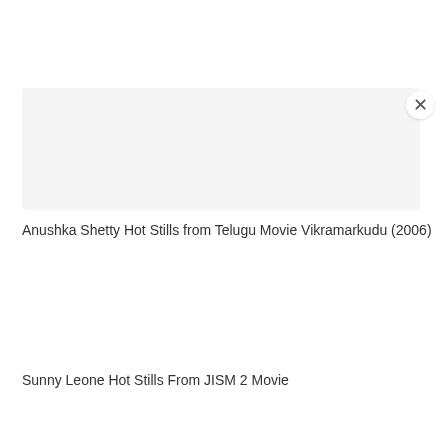[Figure (screenshot): A light grey popup/overlay box with a close (×) button in the top-right corner, appearing over a white background. The box appears to be a dismissible notification or advertisement panel.]
Anushka Shetty Hot Stills from Telugu Movie Vikramarkudu (2006)
Sunny Leone Hot Stills From JISM 2 Movie